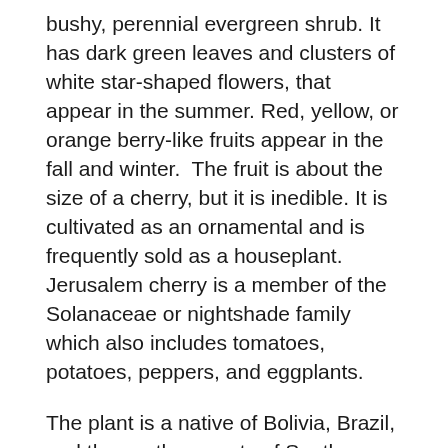bushy, perennial evergreen shrub. It has dark green leaves and clusters of white star-shaped flowers, that appear in the summer. Red, yellow, or orange berry-like fruits appear in the fall and winter.  The fruit is about the size of a cherry, but it is inedible. It is cultivated as an ornamental and is frequently sold as a houseplant. Jerusalem cherry is a member of the Solanaceae or nightshade family which also includes tomatoes, potatoes, peppers, and eggplants.
The plant is a native of Bolivia, Brazil, and the southern parts of South America. It is frequently found in warm subtropical or tropical areas. The plant has been introduced in the US, Europe, Asia, and Australia. It spreads rapidly from disturbed forests to natural areas and has become a widespread weed in some countries. The Jerusalem cherry is enjoyed as a houseplant because of its colorful berries during the winter months: however, if consumed, the berries are